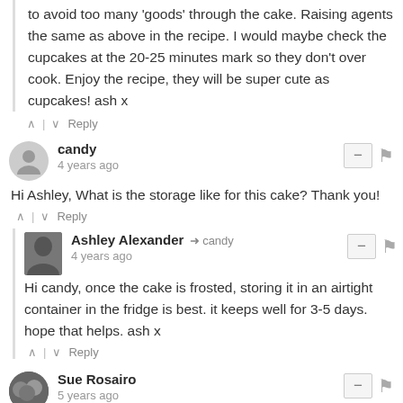to avoid too many 'goods' through the cake. Raising agents the same as above in the recipe. I would maybe check the cupcakes at the 20-25 minutes mark so they don't over cook. Enjoy the recipe, they will be super cute as cupcakes! ash x
^ | v Reply
candy
4 years ago
Hi Ashley, What is the storage like for this cake? Thank you!
^ | v Reply
Ashley Alexander → candy
4 years ago
Hi candy, once the cake is frosted, storing it in an airtight container in the fridge is best. it keeps well for 3-5 days. hope that helps. ash x
^ | v Reply
Sue Rosairo
5 years ago
Hi Ash, my partner is allergic to almonds. What would you